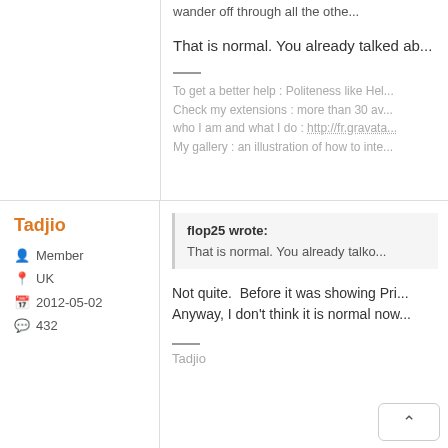wander off through all the othe...
That is normal. You already talked ab...
To get a better help : Politeness like Hel...
Check my extensions : more than 30 av...
who I am and what I do : http://fr.gravata...
My gallery : an illustration of how to inte...
Tadjio
Member
UK
2012-05-02
432
flop25 wrote:
That is normal. You already talko...
Not quite.  Before it was showing Pri...
Anyway, I don't think it is normal now...
Tadjio